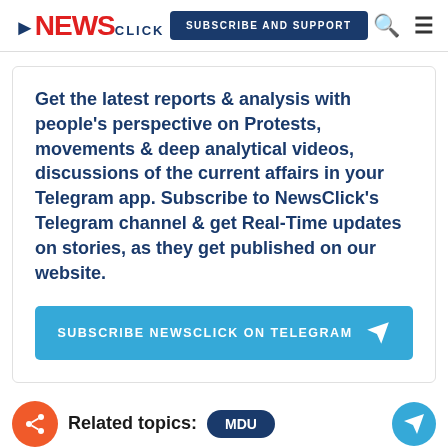NEWSCLICK | SUBSCRIBE AND SUPPORT
Get the latest reports & analysis with people's perspective on Protests, movements & deep analytical videos, discussions of the current affairs in your Telegram app. Subscribe to NewsClick's Telegram channel & get Real-Time updates on stories, as they get published on our website.
SUBSCRIBE NEWSCLICK ON TELEGRAM
Related topics: MDU